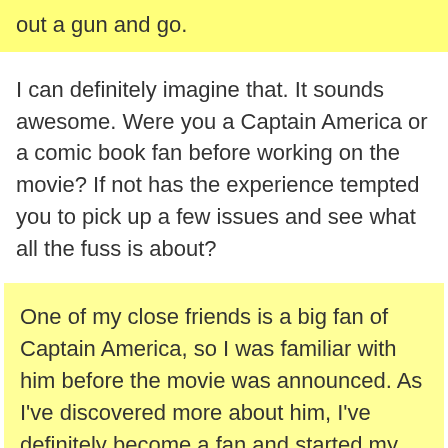out a gun and go.
I can definitely imagine that. It sounds awesome. Were you a Captain America or a comic book fan before working on the movie? If not has the experience tempted you to pick up a few issues and see what all the fuss is about?
One of my close friends is a big fan of Captain America, so I was familiar with him before the movie was announced. As I've discovered more about him, I've definitely become a fan and started my own comic book collection.